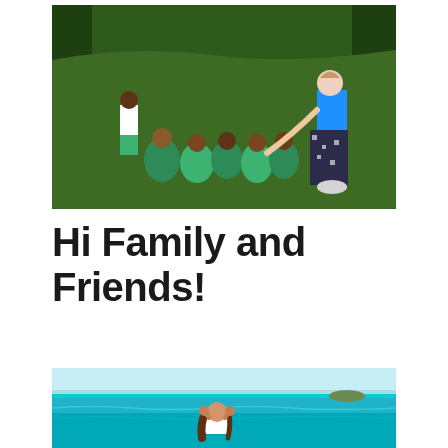[Figure (photo): A person in a blue shirt and floral pants interacts with a group of children in green school uniforms sitting on a grass field outdoors.]
Hi Family and Friends!
[Figure (photo): A person with long hair sits in clear turquoise ocean water with their hands on their head, looking out toward a small island in the distance under a blue sky.]